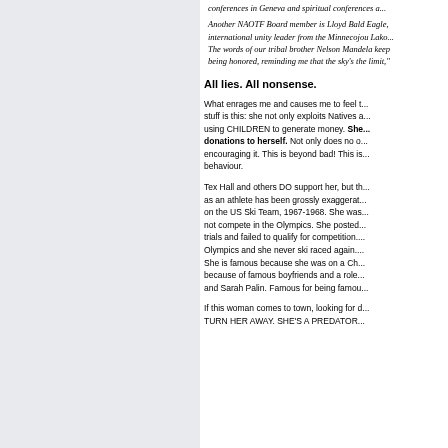conferences in Geneva and spiritual conferences a... Another NAOTF Board member is Lloyd Bald Eagle, international unity leader from the Minnecojou Lako... The words of our tribal brother Nelson Mandela keep being honored, reminding me that the sky's the limit,"
All lies. All nonsense.
What enrages me and causes me to feel ... stuff is this: she not only exploits Natives ... using CHILDREN to generate money. She ... donations to herself. Not only does no o... encouraging it. This is beyond bad! This is... behaviour.
Tex Hall and others DO support her, but th... as an athlete has been grossly exaggerat... on the US Ski Team, 1967-1968. She was... not compete in the Olympics. She posted... trials and failed to qualify for competition.... Olympics and she never ski raced again.... She is famous because she was on a Ch... because of famous boyfriends and a role... and Sarah Palin. Famous for being famou...
If this woman comes to town, looking for d... TURN HER AWAY. SHE'S A PREDATOR...